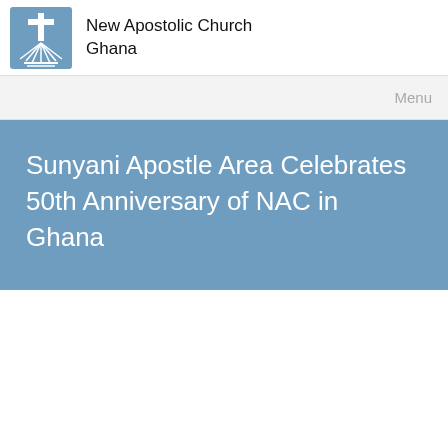New Apostolic Church Ghana
Menu
Sunyani Apostle Area Celebrates 50th Anniversary of NAC in Ghana